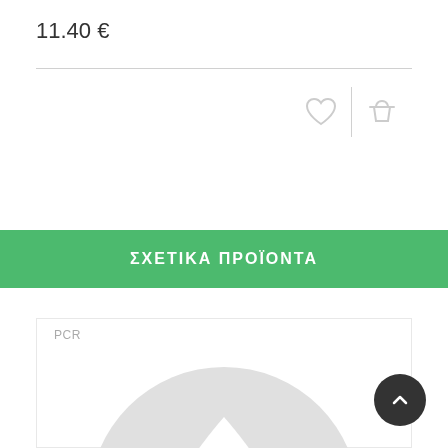11.40 €
[Figure (screenshot): E-commerce product page section showing price 11.40 €, heart and basket icons, a green banner with Greek text ΣΧΕΤΙΚΑ ΠΡΟΪΟΝΤΑ (Related Products), a product card labeled PCR with a placeholder product image (grey circle with flame/drop logo), and a scroll-to-top button]
ΣΧΕΤΙΚΑ ΠΡΟΪΟΝΤΑ
PCR